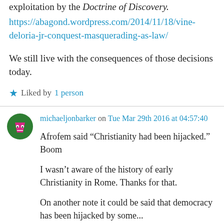exploitation by the Doctrine of Discovery.
https://abagond.wordpress.com/2014/11/18/vine-deloria-jr-conquest-masquerading-as-law/
We still live with the consequences of those decisions today.
Liked by 1 person
michaeljonbarker on Tue Mar 29th 2016 at 04:57:40
Afrofem said “Christianity had been hijacked.” Boom
I wasn’t aware of the history of early Christianity in Rome. Thanks for that.
On another note it could be said that democracy has been hijacked by some...